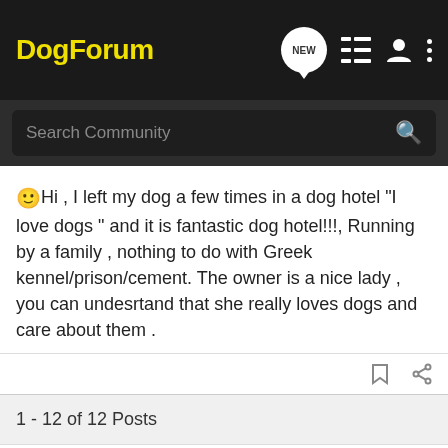DogForum
Search Community
🙂Hi , I left my dog a few times in a dog hotel "I love dogs " and it is fantastic dog hotel!!!, Running by a family , nothing to do with Greek kennel/prison/cement. The owner is a nice lady , you can undesrtand that she really loves dogs and care about them .
1 - 12 of 12 Posts
Not open for further replies.
Join the discussion